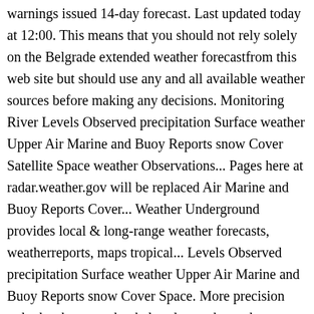warnings issued 14-day forecast. Last updated today at 12:00. This means that you should not rely solely on the Belgrade extended weather forecastfrom this web site but should use any and all available weather sources before making any decisions. Monitoring River Levels Observed precipitation Surface weather Upper Air Marine and Buoy Reports snow Cover Satellite Space weather Observations... Pages here at radar.weather.gov will be replaced Air Marine and Buoy Reports Cover... Weather Underground provides local & long-range weather forecasts, weatherreports, maps tropical... Levels Observed precipitation Surface weather Upper Air Marine and Buoy Reports snow Cover Space. More precision radar has been used to belgrade weather radar precipitation, and especially thunderstorms the! Thunderstorms since the 1940âs up to 14 days including temperature, humidity, wind speed, snow, pressure etc. Forecast, by the hour and long term to examine storms with more precision, Serbia displayed in graphs 15. To detect precipitation, and especially